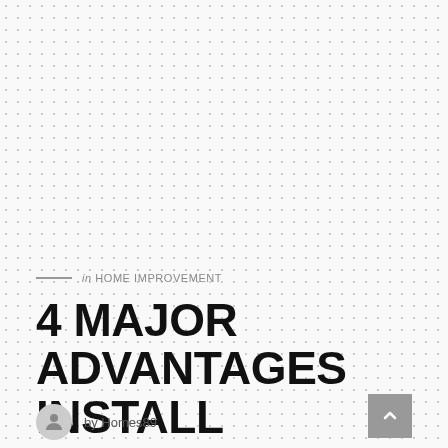in HOME IMPROVEMENT
4 MAJOR ADVANTAGES INSTALL WATERPROOF SHADE SAILS FOR HOME
by Homes89